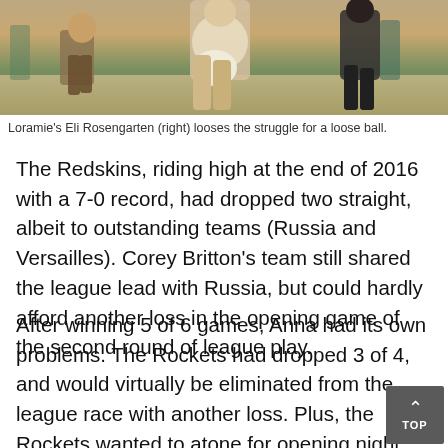[Figure (photo): Basketball players struggling for a loose ball, with one player identified as Eli Rosengarten from Loramie on the right side.]
Loramie’s Eli Rosengarten (right) looses the struggle for a loose ball.
The Redskins, riding high at the end of 2016 with a 7-0 record, had dropped two straight, albeit to outstanding teams (Russia and Versailles). Corey Britton’s team still shared the league lead with Russia, but could hardly afford another loss in the opening game of the second round of league play.
After winning 5 of 6 games, Anna had its own problems. The Rockets had dropped 3 of 4, and would virtually be eliminated from the league race with another loss. Plus, the Rockets wanted to atone for opening night, when Loramie scored an easy 54-29.